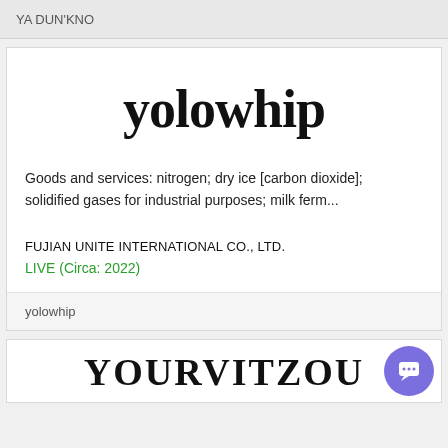YA DUN'KNO
yolowhip
Goods and services: nitrogen; dry ice [carbon dioxide]; solidified gases for industrial purposes; milk ferm...
FUJIAN UNITE INTERNATIONAL CO., LTD.
LIVE (Circa: 2022)
yolowhip
YOURVITZOU